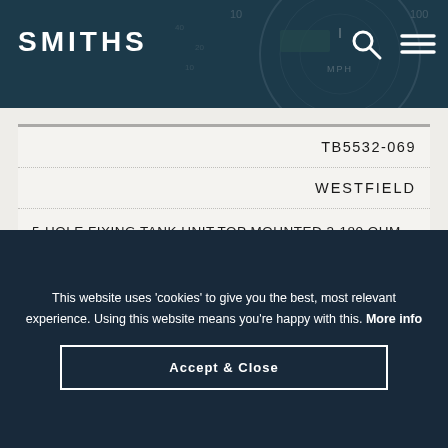SMITHS
| TB5532-069 |
| WESTFIELD |
| 5-HOLE FIXING TANK UNIT,TOP MOUNTED,3-180 OHM RESISTANCE,INSULATED RETURN,141.5mm FLOAT ARM |
This website uses 'cookies' to give you the best, most relevant experience. Using this website means you're happy with this. More info
Accept & Close